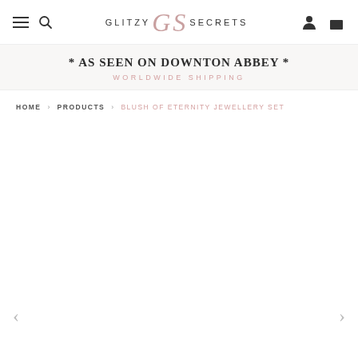GLITZY GS SECRETS — navigation header with hamburger menu, search icon, account icon, bag icon
* AS SEEN ON DOWNTON ABBEY *
WORLDWIDE SHIPPING
HOME › PRODUCTS › BLUSH OF ETERNITY JEWELLERY SET
[Figure (photo): Product image area (blank/white) for Blush of Eternity Jewellery Set with left and right navigation arrows at bottom]